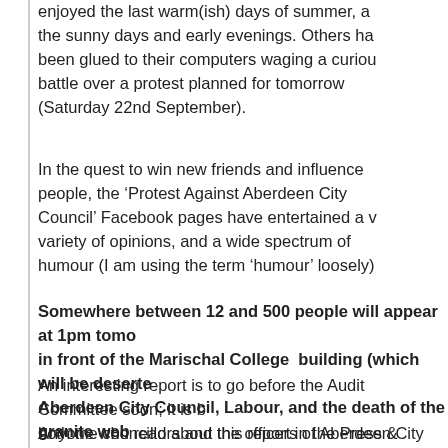enjoyed the last warm(ish) days of summer, a the sunny days and early evenings. Others ha been glued to their computers waging a curio battle over a protest planned for tomorrow (Saturday 22nd September).
In the quest to win new friends and influence people, the ‘Protest Against Aberdeen City Council’ Facebook pages have entertained a v variety of opinions, and a wide spectrum of humour (I am using the term ‘humour’ loosely)
Somewhere between 12 and 500 people will appear at 1pm tomo in front of the Marischal College  building (which will be deserte Aberdeen City Council, Labour, and the death of the granite web
An interesting report is to go before the Audit Committee soon; it is b both the councillors and the officers of Aberdeen City Council need to
Anyone who read about this report in the Press & Journal would have